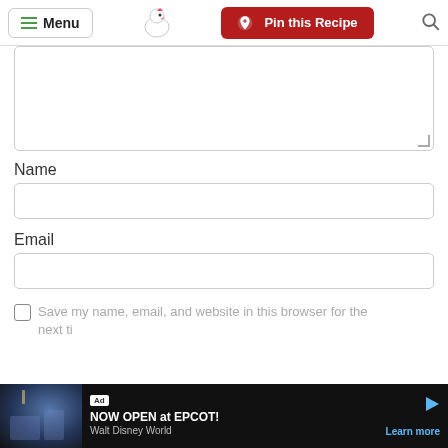Menu | Pin this Recipe
[Figure (screenshot): Large textarea input box, empty, with resize handle at bottom right]
Name
[Figure (screenshot): Name text input field, empty]
Email
[Figure (screenshot): Email text input field, empty]
Save my name, email, and website in this browser for the next ti…
[Figure (screenshot): Advertisement banner: NOW OPEN at EPCOT! Walt Disney World – Learn more]